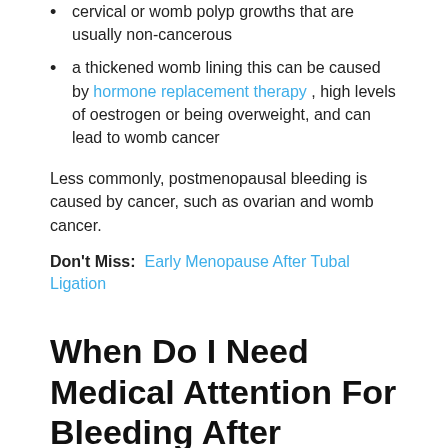cervical or womb polyp growths that are usually non-cancerous
a thickened womb lining this can be caused by hormone replacement therapy , high levels of oestrogen or being overweight, and can lead to womb cancer
Less commonly, postmenopausal bleeding is caused by cancer, such as ovarian and womb cancer.
Don't Miss:  Early Menopause After Tubal Ligation
When Do I Need Medical Attention For Bleeding After Menopause